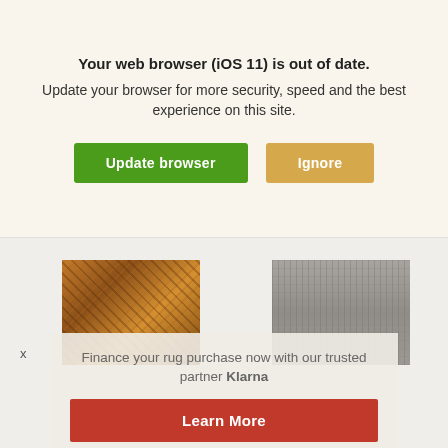Your web browser (iOS 11) is out of date.
Update your browser for more security, speed and the best experience on this site.
[Figure (screenshot): Two buttons: a green 'Update browser' button and a tan/gold 'Ignore' button]
[Figure (photo): Two rug product images side by side: left is an orange/brown patterned rug, right is a gray textured rug]
Finance your rug purchase now with our trusted partner Klarna
Learn More